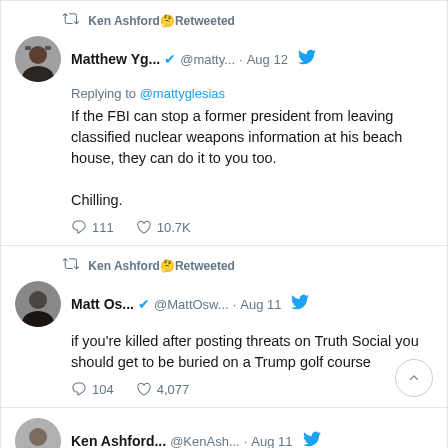[Figure (screenshot): Tweet card: Ken Ashford Retweeted. Matthew Yg... @matty... Aug 12. Replying to @mattyglesias. If the FBI can stop a former president from leaving classified nuclear weapons information at his beach house, they can do it to you too. Chilling. 111 replies, 10.7K likes.]
[Figure (screenshot): Tweet card: Ken Ashford Retweeted. Matt Os... @MattOsw... Aug 11. if you're killed after posting threats on Truth Social you should get to be buried on a Trump golf course. 104 replies, 4,077 likes.]
[Figure (screenshot): Tweet card partial: Ken Ashford... @KenAsh... Aug 11.]